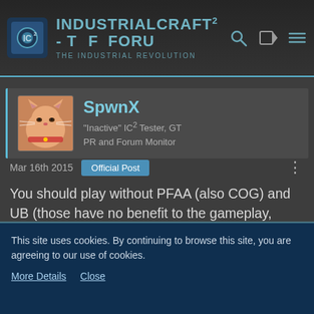IndustrialCraft² - The Forum - The Industrial Revolution
SpwnX
"Inactive" IC² Tester, GT PR and Forum Monitor
Mar 16th 2015   Official Post
You should play without PFAA (also COG) and UB (those have no benefit to the gameplay, actually they are a bit problematic nowadays), aswell edit the configs to ease the gameplay to your liking.
This site uses cookies. By continuing to browse this site, you are agreeing to our use of cookies.
More Details   Close